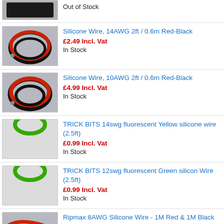Out of Stock
Silicone Wire, 14AWG 2ft / 0.6m Red-Black
£2.49 Incl. Vat
In Stock
Silicone Wire, 10AWG 2ft / 0.6m Red-Black
£4.99 Incl. Vat
In Stock
TRICK BITS 14swg fluorescent Yellow silicone wire (2.5ft)
£0.99 Incl. Vat
In Stock
TRICK BITS 12swg fluorescent Green silicon Wire (2.5ft)
£0.99 Incl. Vat
In Stock
Ripmax 8AWG Silicone Wire - 1M Red & 1M Black
£6.99 Incl. Vat
In Stock